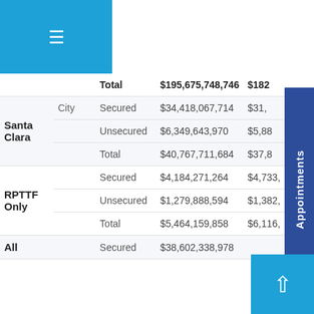| Entity | Type | Roll | Amount (Col1) | Amount (Col2) |
| --- | --- | --- | --- | --- |
|  |  | Total | $195,675,748,746 | $182... |
| Santa Clara | City | Secured | $34,418,067,714 | $31,... |
|  |  | Unsecured | $6,349,643,970 | $5,88... |
|  |  | Total | $40,767,711,684 | $37,8... |
|  | RPTTF Only | Secured | $4,184,271,264 | $4,733,... |
|  |  | Unsecured | $1,279,888,594 | $1,382,... |
|  |  | Total | $5,464,159,858 | $6,116,... |
|  | All | Secured | $38,602,338,978 | ... |